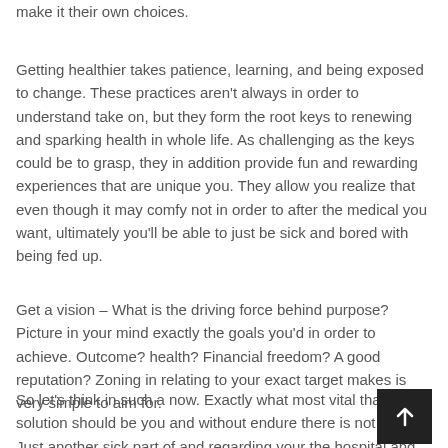make it their own choices.
Getting healthier takes patience, learning, and being exposed to change. These practices aren't always in order to understand take on, but they form the root keys to renewing and sparking health in whole life. As challenging as the keys could be to grasp, they in addition provide fun and rewarding experiences that are unique you. They allow you realize that even though it may comfy not in order to after the medical you want, ultimately you'll be able to just be sick and bored with being fed up.
Get a vision – What is the driving force behind purpose? Picture in your mind exactly the goals you'd in order to achieve. Outcome? health? Financial freedom? A good reputation? Zoning in relating to your exact target makes is very simple to aim for.
So let's think in such a now. Exactly what most vital that y... solution should be you and without endure there is not a you. Just another sick part of and regarding your the hospital and